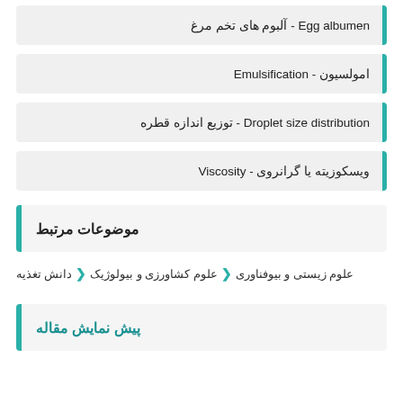آلبوم های تخم مرغ - Egg albumen
امولسیون - Emulsification
توزیع اندازه قطره - Droplet size distribution
ویسکوزیته یا گرانروی - Viscosity
موضوعات مرتبط
علوم زیستی و بیوفناوری  ❯  علوم کشاورزی و بیولوژیک  ❯  دانش تغذیه
پیش نمایش مقاله